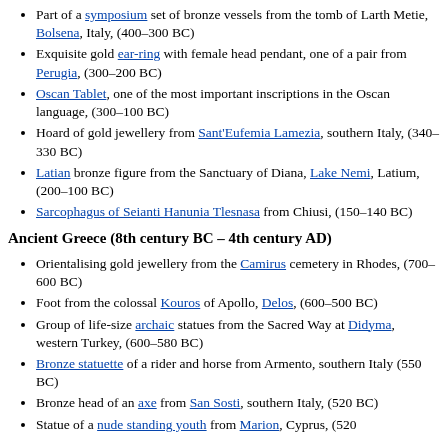Part of a symposium set of bronze vessels from the tomb of Larth Metie, Bolsena, Italy, (400–300 BC)
Exquisite gold ear-ring with female head pendant, one of a pair from Perugia, (300–200 BC)
Oscan Tablet, one of the most important inscriptions in the Oscan language, (300–100 BC)
Hoard of gold jewellery from Sant'Eufemia Lamezia, southern Italy, (340–330 BC)
Latian bronze figure from the Sanctuary of Diana, Lake Nemi, Latium, (200–100 BC)
Sarcophagus of Seianti Hanunia Tlesnasa from Chiusi, (150–140 BC)
Ancient Greece (8th century BC – 4th century AD)
Orientalising gold jewellery from the Camirus cemetery in Rhodes, (700–600 BC)
Foot from the colossal Kouros of Apollo, Delos, (600–500 BC)
Group of life-size archaic statues from the Sacred Way at Didyma, western Turkey, (600–580 BC)
Bronze statuette of a rider and horse from Armento, southern Italy (550 BC)
Bronze head of an axe from San Sosti, southern Italy, (520 BC)
Statue of a nude standing youth from Marion, Cyprus, (520 BC)